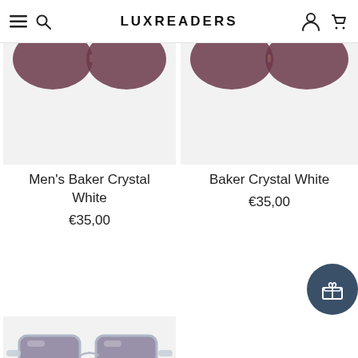LUXREADERS
[Figure (photo): Sunglasses product image – Men's Baker Crystal White (top portion cropped showing lenses with mauve/dark red tint on light grey background)]
Men's Baker Crystal White
€35,00
[Figure (photo): Sunglasses product image – Baker Crystal White (top portion cropped showing lenses with mauve/dark red tint on light grey background)]
Baker Crystal White
€35,00
[Figure (photo): Sunglasses product image – crystal clear/grey transparent frame sunglasses with purple/grey tinted lenses on light grey background, bottom portion cut off]